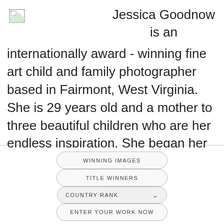[Figure (logo): Broken image placeholder icon in top-left corner]
Jessica Goodnow is an
internationally award - winning fine art child and family photographer based in Fairmont, West Virginia. She is 29 years old and a mother to three beautiful children who are her endless inspiration. She began her career in 2014, and has been shooting newborns and their families for the last 7
WINNING IMAGES
TITLE WINNERS
COUNTRY RANK
ENTER YOUR WORK NOW